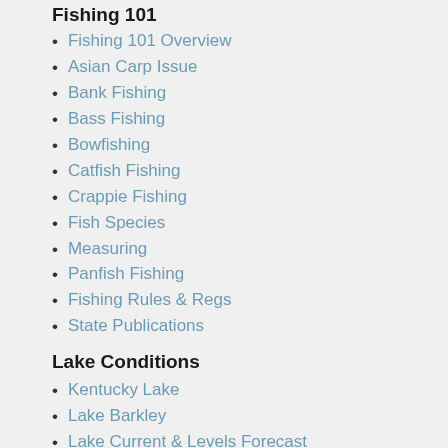Fishing 101
Fishing 101 Overview
Asian Carp Issue
Bank Fishing
Bass Fishing
Bowfishing
Catfish Fishing
Crappie Fishing
Fish Species
Measuring
Panfish Fishing
Fishing Rules & Regs
State Publications
Lake Conditions
Kentucky Lake
Lake Barkley
Lake Current & Levels Forecast
Normal Water Temperatures
Current Weather & Forecasts